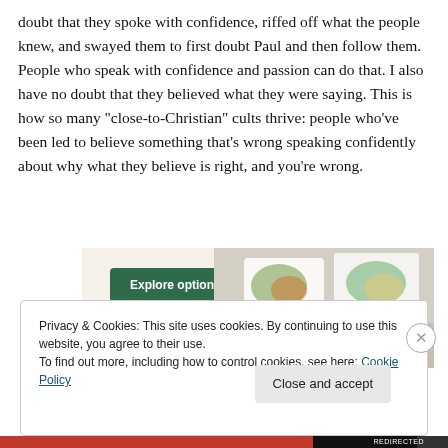doubt that they spoke with confidence, riffed off what the people knew, and swayed them to first doubt Paul and then follow them. People who speak with confidence and passion can do that. I also have no doubt that they believed what they were saying. This is how so many “close-to-Christian” cults thrive: people who’ve been led to believe something that’s wrong speaking confidently about why what they believe is right, and you’re wrong.
[Figure (other): Advertisement banner with a green 'Explore options' button on a beige background with food images on the right side.]
Privacy & Cookies: This site uses cookies. By continuing to use this website, you agree to their use.
To find out more, including how to control cookies, see here: Cookie Policy
Close and accept